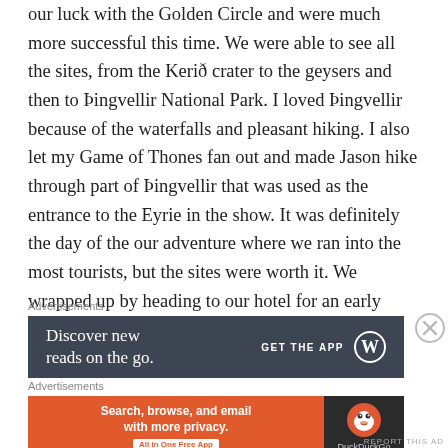our luck with the Golden Circle and were much more successful this time. We were able to see all the sites, from the Kerið crater to the geysers and then to Þingvellir National Park. I loved Þingvellir because of the waterfalls and pleasant hiking. I also let my Game of Thones fan out and made Jason hike through part of Þingvellir that was used as the entrance to the Eyrie in the show. It was definitely the day of the our adventure where we ran into the most tourists, but the sites were worth it. We wrapped up by heading to our hotel for an early dinner.
[Figure (infographic): WordPress app advertisement with dark blue-grey background. Text: 'Discover new reads on the go.' with 'GET THE APP' and WordPress logo on the right.]
[Figure (infographic): DuckDuckGo app advertisement. Orange left panel with text 'Search, browse, and email with more privacy. All in One Free App'. Dark right panel with DuckDuckGo duck logo and 'DuckDuckGo' label.]